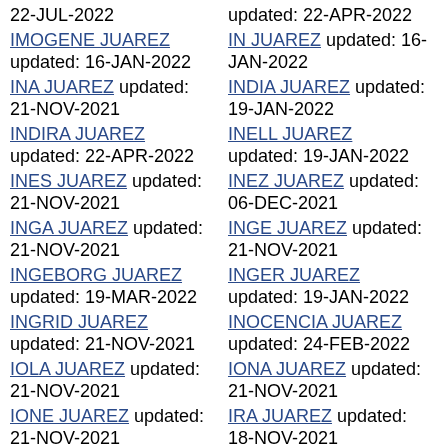22-JUL-2022
IMOGENE JUAREZ updated: 16-JAN-2022
INA JUAREZ updated: 21-NOV-2021
INDIRA JUAREZ updated: 22-APR-2022
INES JUAREZ updated: 21-NOV-2021
INGA JUAREZ updated: 21-NOV-2021
INGEBORG JUAREZ updated: 19-MAR-2022
INGRID JUAREZ updated: 21-NOV-2021
IOLA JUAREZ updated: 21-NOV-2021
IONE JUAREZ updated: 21-NOV-2021
IRAIDA JUAREZ
updated: 22-APR-2022
IN JUAREZ updated: 16-JAN-2022
INDIA JUAREZ updated: 19-JAN-2022
INELL JUAREZ updated: 19-JAN-2022
INEZ JUAREZ updated: 06-DEC-2021
INGE JUAREZ updated: 21-NOV-2021
INGER JUAREZ updated: 19-JAN-2022
INOCENCIA JUAREZ updated: 24-FEB-2022
IONA JUAREZ updated: 21-NOV-2021
IRA JUAREZ updated: 18-NOV-2021
IRENA JUAREZ